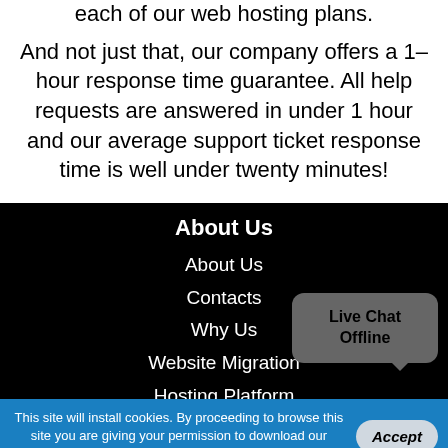each of our web hosting plans.
And not just that, our company offers a 1–hour response time guarantee. All help requests are answered in under 1 hour and our average support ticket response time is well under twenty minutes!
About Us
About Us
Contacts
Why Us
Website Migration
Hosting Platform
Service Guarantees
Videos
Live Chat Offline
This site will install cookies. By proceeding to browse this site you are giving your permission to download our cookies. Find out more about our cookies here.